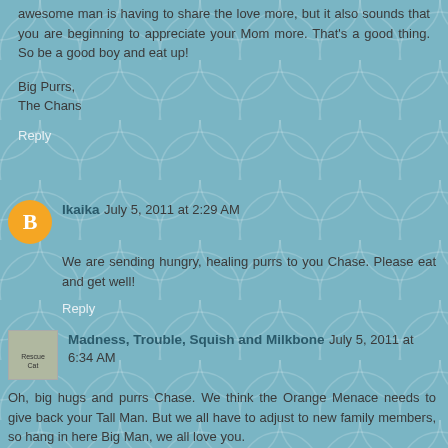awesome man is having to share the love more, but it also sounds that you are beginning to appreciate your Mom more. That's a good thing. So be a good boy and eat up!
Big Purrs,
The Chans
Reply
Ikaika  July 5, 2011 at 2:29 AM
We are sending hungry, healing purrs to you Chase. Please eat and get well!
Reply
Madness, Trouble, Squish and Milkbone  July 5, 2011 at 6:34 AM
Oh, big hugs and purrs Chase. We think the Orange Menace needs to give back your Tall Man. But we all have to adjust to new family members, so hang in here Big Man, we all love you.